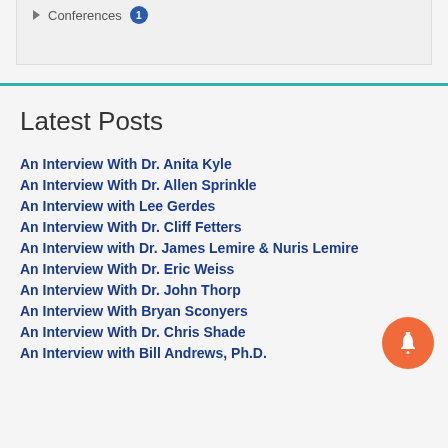Conferences 1
Latest Posts
An Interview With Dr. Anita Kyle
An Interview With Dr. Allen Sprinkle
An Interview with Lee Gerdes
An Interview With Dr. Cliff Fetters
An Interview with Dr. James Lemire & Nuris Lemire
An Interview With Dr. Eric Weiss
An Interview With Dr. John Thorp
An Interview With Bryan Sconyers
An Interview With Dr. Chris Shade
An Interview with Bill Andrews, Ph.D.